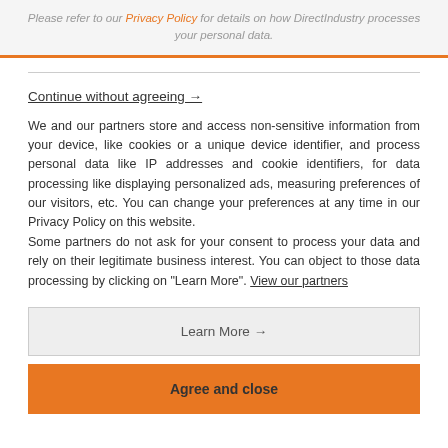Please refer to our Privacy Policy for details on how DirectIndustry processes your personal data.
Continue without agreeing →
We and our partners store and access non-sensitive information from your device, like cookies or a unique device identifier, and process personal data like IP addresses and cookie identifiers, for data processing like displaying personalized ads, measuring preferences of our visitors, etc. You can change your preferences at any time in our Privacy Policy on this website. Some partners do not ask for your consent to process your data and rely on their legitimate business interest. You can object to those data processing by clicking on "Learn More". View our partners
Learn More →
Agree and close